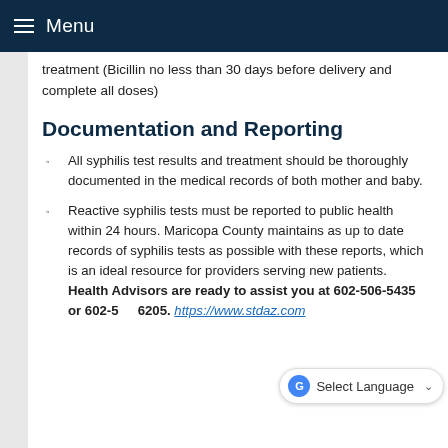Menu
treatment (Bicillin no less than 30 days before delivery and complete all doses)
Documentation and Reporting
All syphilis test results and treatment should be thoroughly documented in the medical records of both mother and baby.
Reactive syphilis tests must be reported to public health within 24 hours. Maricopa County maintains as up to date records of syphilis tests as possible with these reports, which is an ideal resource for providers serving new patients. Health Advisors are ready to assist you at 602-506-5435 or 602-506-6205. https://www.stdaz.com